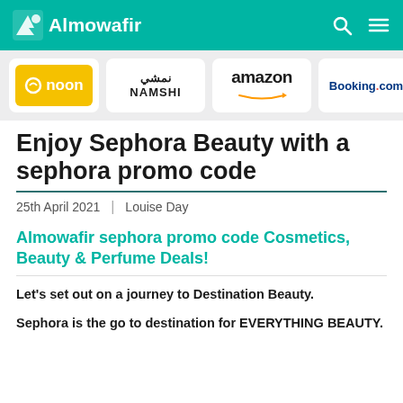Almowafir
[Figure (logo): Brand logos strip: noon, NAMSHI, amazon, Booking.com]
Enjoy Sephora Beauty with a sephora promo code
25th April 2021  |  Louise Day
Almowafir sephora promo code Cosmetics, Beauty & Perfume Deals!
Let's set out on a journey to Destination Beauty.
Sephora is the go to destination for EVERYTHING BEAUTY.